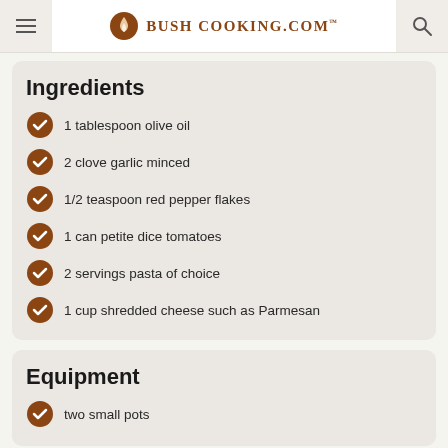Bush Cooking.com
Ingredients
1 tablespoon olive oil
2 clove garlic minced
1/2 teaspoon red pepper flakes
1 can petite dice tomatoes
2 servings pasta of choice
1 cup shredded cheese such as Parmesan
Equipment
two small pots